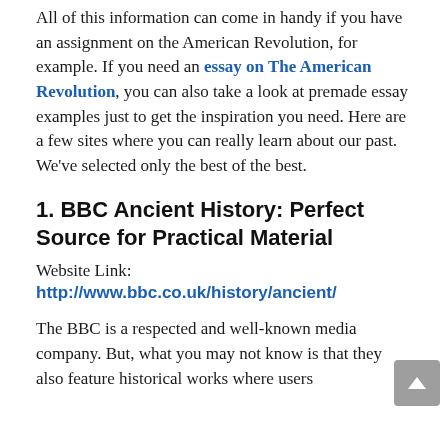All of this information can come in handy if you have an assignment on the American Revolution, for example. If you need an essay on The American Revolution, you can also take a look at premade essay examples just to get the inspiration you need. Here are a few sites where you can really learn about our past. We've selected only the best of the best.
1. BBC Ancient History: Perfect Source for Practical Material
Website Link:
http://www.bbc.co.uk/history/ancient/
The BBC is a respected and well-known media company. But, what you may not know is that they also feature historical works where users